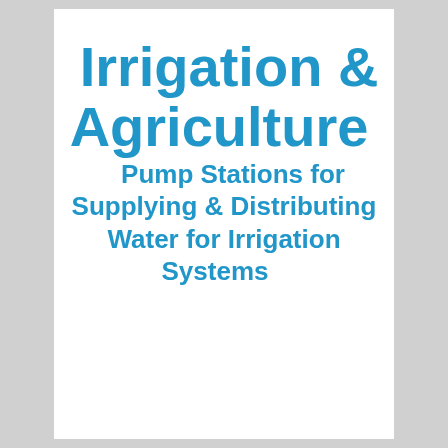Irrigation & Agriculture
Pump Stations for Supplying & Distributing Water for Irrigation Systems